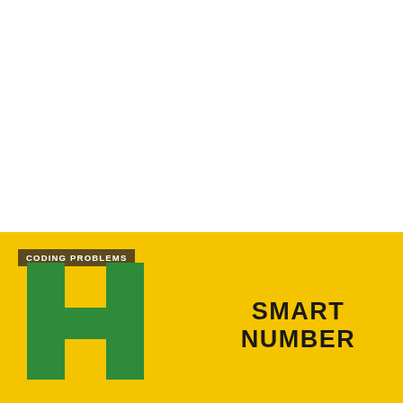[Figure (logo): Yellow banner with green H logo, dark olive badge reading CODING PROBLEMS, and bold title SMART NUMBER]
SMART NUMBER